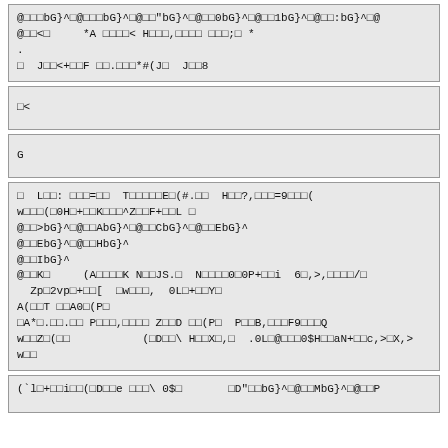@ãããbG}^ã@ãããbG}^ã@ãã"bG}^ã@ãã0bG}^ã@ãã1bG}^ã@ãã:bG}^ã@
@ãã<ã     *A ãããã< Hããã,ãããã ããã;ã *
.
ã  Jãã<+ããF ãã.ããã*#(Jã  Jãã8
ã<
G
ã  Lãã: ããã=ãã  TãããããEã(#.ãã  Hãã?,ããã=9ããã(
wããã(ãã0Hã+ããKããã^ZããF+ããL ã
@ãã>bG}^ã@ããAbG}^ã@ããCbG}^ã@ããEbG}^
@ããEbG}^ã@ããHbG}^
@ããIbG}^
@ããKã     (AããããK NããJS.ã  Nãããã0ãã0P+ããi  6ã,>,ãããã/ã
  Zpãã2vpã+ãã[  ãwããã,  ã0Lã+ããYã
A(ããT ããA0ã(Pã
ãA*ã.ãã.ãã Pããã,ãããã ZããD ãã(Pã  PããB,ãããF9ãããQ
wããZã(ãã           (ãDãã\ HããXã,ã  .ã0Lã@ããã0$HããaN+ããc,>ãX,>
wãã
(`lã+ããiãã(ãDããe ããã\ 0$ã       ãD"ããbG}^ã@ããMbG}^ã@ããP